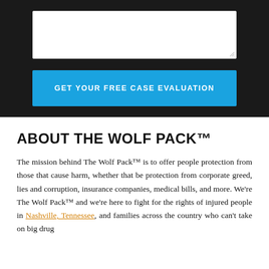[Figure (screenshot): Dark background UI section with a white textarea input field and a bright blue 'GET YOUR FREE CASE EVALUATION' call-to-action button below it]
ABOUT THE WOLF PACK™
The mission behind The Wolf Pack™ is to offer people protection from those that cause harm, whether that be protection from corporate greed, lies and corruption, insurance companies, medical bills, and more. We're The Wolf Pack™ and we're here to fight for the rights of injured people in Nashville, Tennessee, and families across the country who can't take on big drug